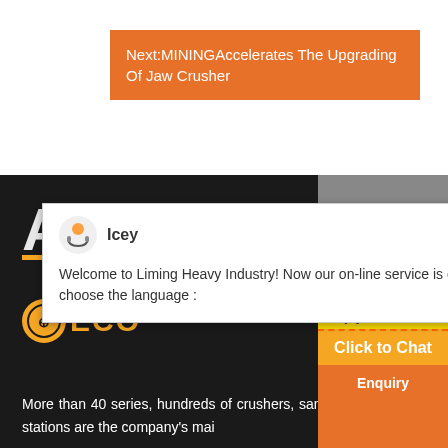Next:MININGAccelerates The Upgrading Of Jaw Crusher
[Figure (screenshot): Chat popup from Liming Heavy Industry with agent named Icey, welcoming user and asking to choose language]
Welcome to Liming Heavy Industry! Now our on-line service is chatting with you! Please choose the language :
[Figure (logo): ECO logo with circular icon in orange/yellow]
More than 40 series, hundreds of crushers, sand making machines, m crushing stations are the company's mai
Enjoy 3% discount
Click to Chat
Enquiry